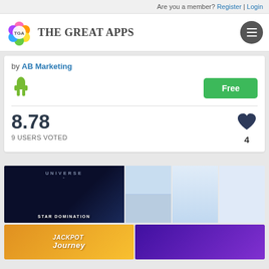Are you a member? Register | Login
[Figure (logo): The Great Apps logo with colorful flower/circles icon labeled TGA and text 'The Great Apps']
by AB Marketing
Free (Android app)
8.78
9 USERS VOTED
[Figure (infographic): App store banner ads strip showing: Universe Star Domination game, mobile app screenshots, and TGA website screenshots]
[Figure (infographic): Two banner ads: Jackpot Journey app and a colorful abstract/game app]